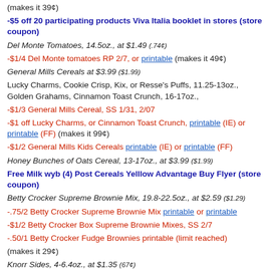(makes it 39¢)
-$5 off 20 participating products Viva Italia booklet in stores (store coupon)
Del Monte Tomatoes, 14.5oz., at $1.49 (.74¢)
-$1/4 Del Monte tomatoes RP 2/7, or printable (makes it 49¢)
General Mills Cereals at $3.99 ($1.99)
Lucky Charms, Cookie Crisp, Kix, or Resse's Puffs, 11.25-13oz., Golden Grahams, Cinnamon Toast Crunch, 16-17oz.,
-$1/3 General Mills Cereal, SS 1/31, 2/07
-$1 off Lucky Charms, or Cinnamon Toast Crunch, printable (IE) or printable (FF) (makes it 99¢)
-$1/2 General Mills Kids Cereals printable (IE) or printable (FF)
Honey Bunches of Oats Cereal, 13-17oz., at $3.99 ($1.99)
Free Milk wyb (4) Post Cereals Yelllow Advantage Buy Flyer (store coupon)
Betty Crocker Supreme Brownie Mix, 19.8-22.5oz., at $2.59 ($1.29)
-.75/2 Betty Crocker Supreme Brownie Mix printable or printable
-$1/2 Betty Crocker Box Supreme Brownie Mixes, SS 2/7
-.50/1 Betty Crocker Fudge Brownies printable (limit reached)
(makes it 29¢)
Knorr Sides, 4-6.4oz., at $1.35 (67¢)
-.55/2 Knorr Sides, "Multply Your Savngs" Booklet (store coupon)